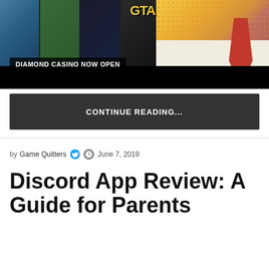[Figure (screenshot): GTA game banner with multiple scene thumbnails on left side, comic-style character on right side, text 'DIAMOND CASINO NOW OPEN' overlaid, GTA V logo visible, black bar at bottom]
DIAMOND CASINO NOW OPEN
CONTINUE READING...
by Game Quitters  June 7, 2019
Discord App Review: A Guide for Parents